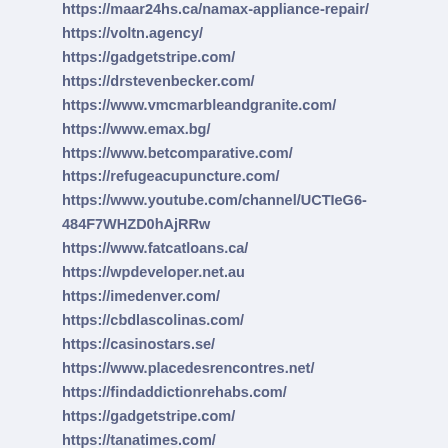https://maar24hs.ca/namax-appliance-repair/
https://voltn.agency/
https://gadgetstripe.com/
https://drstevenbecker.com/
https://www.vmcmarbleandgranite.com/
https://www.emax.bg/
https://www.betcomparative.com/
https://refugeacupuncture.com/
https://www.youtube.com/channel/UCTIeG6-484F7WHZD0hAjRRw
https://www.fatcatloans.ca/
https://wpdeveloper.net.au
https://imedenver.com/
https://cbdlascolinas.com/
https://casinostars.se/
https://www.placedesrencontres.net/
https://findaddictionrehabs.com/
https://gadgetstripe.com/
https://tanatimes.com/
https://www.siamfocus.com/
https://reenlinkcoin.com/